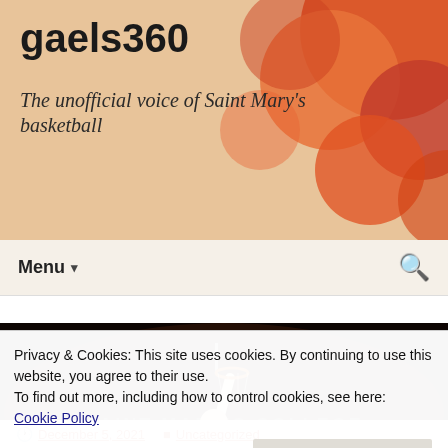gaels360
The unofficial voice of Saint Mary's basketball
Menu ▾
[Figure (photo): Basketball player wearing jersey number 44 going up for a layup at Saint Mary's College arena with opposing players and crowd in background]
Privacy & Cookies: This site uses cookies. By continuing to use this website, you agree to their use. To find out more, including how to control cookies, see here: Cookie Policy
Close and accept
December 5, 2021   Uncategorized